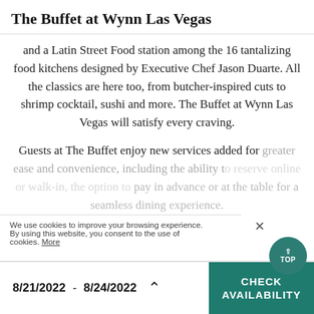The Buffet at Wynn Las Vegas
and a Latin Street Food station among the 16 tantalizing food kitchens designed by Executive Chef Jason Duarte. All the classics are here too, from butcher-inspired cuts to shrimp cocktail, sushi and more. The Buffet at Wynn Las Vegas will satisfy every craving.
Guests at The Buffet enjoy new services added for greater ease and convenience, including the ability to reserve online or walk-in, the option to pay in advance or at the table for a seamless dining experience.
We use cookies to improve your browsing experience. By using this website, you consent to the use of cookies. More
8/21/2022 - 8/24/2022
CHECK AVAILABILITY